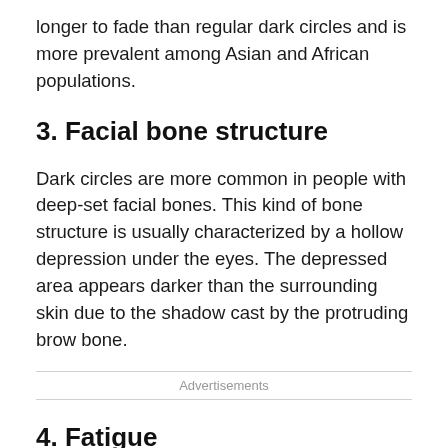longer to fade than regular dark circles and is more prevalent among Asian and African populations.
3. Facial bone structure
Dark circles are more common in people with deep-set facial bones. This kind of bone structure is usually characterized by a hollow depression under the eyes. The depressed area appears darker than the surrounding skin due to the shadow cast by the protruding brow bone.
Advertisements
4. Fatigue